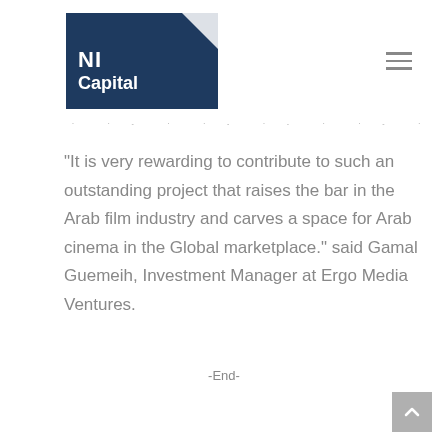[Figure (logo): NI Capital logo: dark navy blue rectangle with white triangle in top-right corner and white bold text 'NI Capital' in lower-left area]
· · - · · - · · · - · -
“It is very rewarding to contribute to such an outstanding project that raises the bar in the Arab film industry and carves a space for Arab cinema in the Global marketplace.” said Gamal Guemeih, Investment Manager at Ergo Media Ventures.
-End-